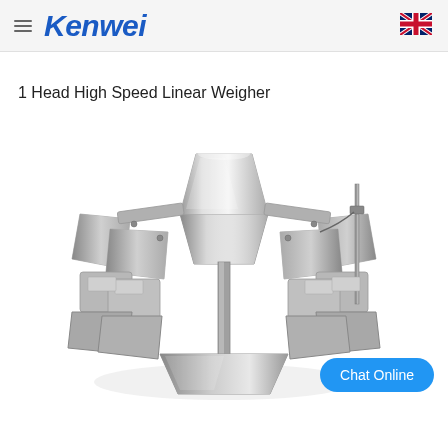Kenwei
1 Head High Speed Linear Weigher
[Figure (photo): Industrial linear weigher machine with multiple stainless steel heads and chutes, photographed from above at an angle showing the multi-head combination weighing mechanism]
Chat Online